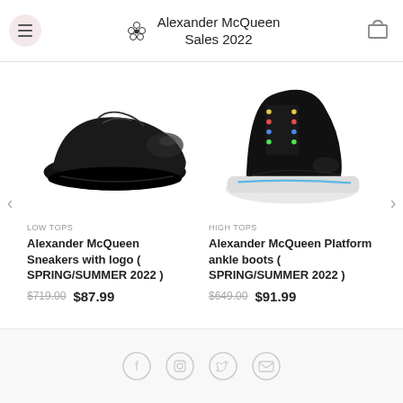Alexander McQueen Sales 2022
[Figure (photo): Black low-top Alexander McQueen sneakers with logo on white background]
LOW TOPS
Alexander McQueen Sneakers with logo ( SPRING/SUMMER 2022 )
$719.00  $87.99
[Figure (photo): Black high-top Alexander McQueen platform ankle boots with white chunky sole and colorful eyelets]
HIGH TOPS
Alexander McQueen Platform ankle boots ( SPRING/SUMMER 2022 )
$649.00  $91.99
Social icons: Facebook, Instagram, Twitter, Email